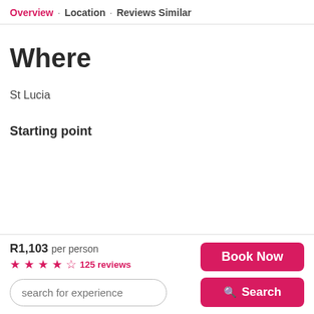Overview · Location · Reviews Similar
Where
St Lucia
Starting point
R1,103 per person  ★★★★½  125 reviews
search for experience
Book Now
Search